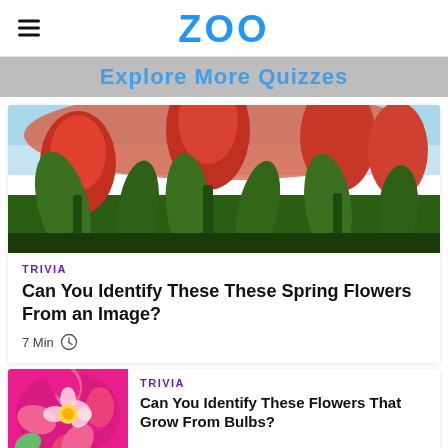ZOO
Explore More Quizzes
[Figure (photo): Close-up low-angle photo of red/orange tulips with green stems against a blue sky]
TRIVIA
Can You Identify These These Spring Flowers From an Image?
7 Min
[Figure (photo): Close-up of pink and white dahlia flower]
TRIVIA
Can You Identify These Flowers That Grow From Bulbs?